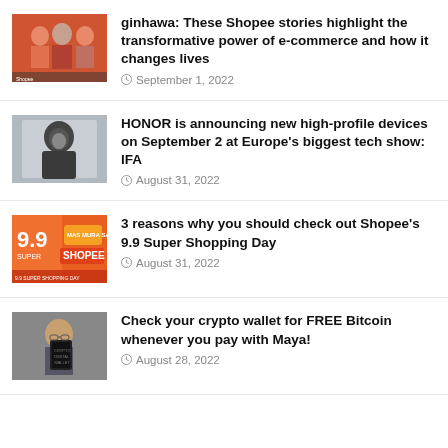[Figure (photo): Thumbnail image of Shopee story with people in orange setting]
ginhawa: These Shopee stories highlight the transformative power of e-commerce and how it changes lives
September 1, 2022
[Figure (photo): Thumbnail of person in hooded outfit in a grey room, HONOR product announcement]
HONOR is announcing new high-profile devices on September 2 at Europe's biggest tech show: IFA
August 31, 2022
[Figure (photo): Thumbnail of Shopee 9.9 Super Shopping Day banner in orange and red]
3 reasons why you should check out Shopee's 9.9 Super Shopping Day
August 31, 2022
[Figure (photo): Thumbnail of person holding a book about cryptocurrency, Maya payment]
Check your crypto wallet for FREE Bitcoin whenever you pay with Maya!
August 28, 2022